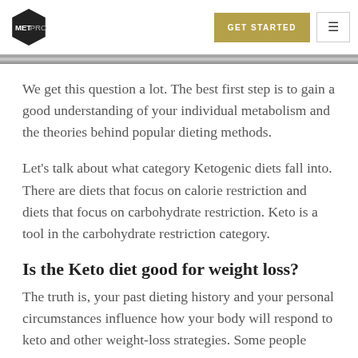METPRO | GET STARTED
We get this question a lot. The best first step is to gain a good understanding of your individual metabolism and the theories behind popular dieting methods.
Let's talk about what category Ketogenic diets fall into. There are diets that focus on calorie restriction and diets that focus on carbohydrate restriction. Keto is a tool in the carbohydrate restriction category.
Is the Keto diet good for weight loss?
The truth is, your past dieting history and your personal circumstances influence how your body will respond to keto and other weight-loss strategies. Some people